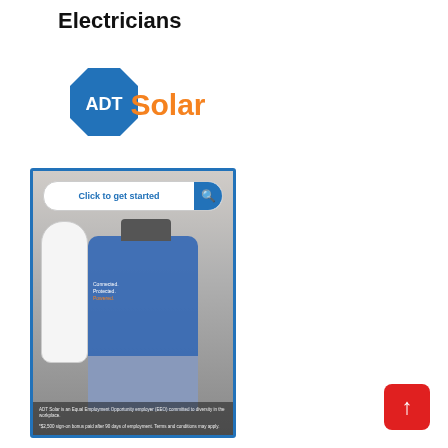Electricians
[Figure (logo): ADT Solar logo: blue octagon with ADT text and orange Solar wordmark]
[Figure (photo): ADT Solar advertisement image showing a technician in a blue shirt with 'Connected. Protected. Powered.' text installing equipment. Contains a search bar overlay saying 'Click to get started', small text 'ADT Solar is an Equal Employment Opportunity employer (EEO) committed to diversity in the workplace.' and '*$2,500 sign-on bonus paid after 90 days of employment. Terms and conditions may apply.']
[Figure (other): Red rounded square button with white upward arrow (scroll to top button) in lower right corner]